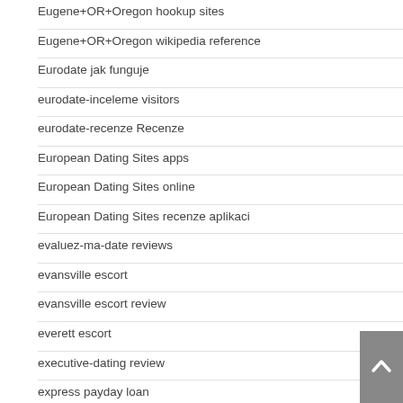Eugene+OR+Oregon hookup sites
Eugene+OR+Oregon wikipedia reference
Eurodate jak funguje
eurodate-inceleme visitors
eurodate-recenze Recenze
European Dating Sites apps
European Dating Sites online
European Dating Sites recenze aplikaci
evaluez-ma-date reviews
evansville escort
evansville escort review
everett escort
executive-dating review
express payday loan
express payday loans